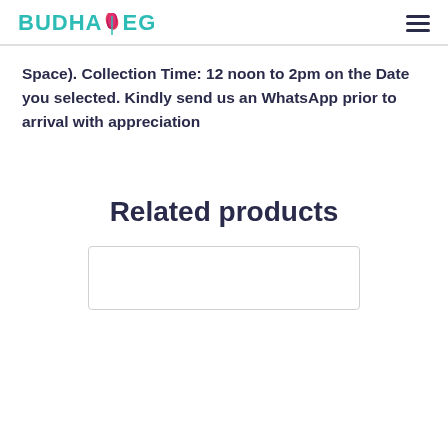BUDHAVEG
Space). Collection Time: 12 noon to 2pm on the Date you selected. Kindly send us an WhatsApp prior to arrival with appreciation
Related products